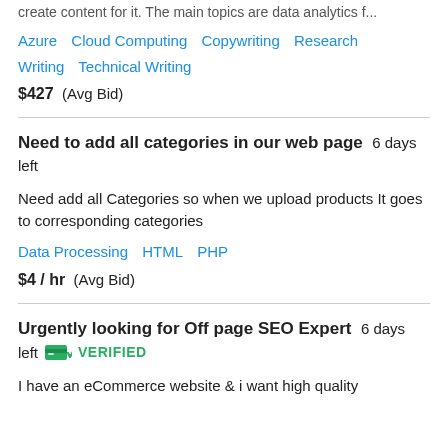create content for it. The main topics are data analytics f...
Azure   Cloud Computing   Copywriting   Research Writing   Technical Writing
$427  (Avg Bid)
Need to add all categories in our web page   6 days left
Need add all Categories so when we upload products It goes to corresponding categories
Data Processing   HTML   PHP
$4 / hr  (Avg Bid)
Urgently looking for Off page SEO Expert   6 days left   VERIFIED
I have an eCommerce website & i want high quality